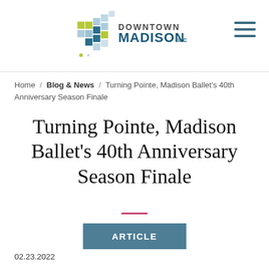[Figure (logo): Downtown Madison Inc logo with colored square grid mosaic and text]
Home / Blog & News / Turning Pointe, Madison Ballet's 40th Anniversary Season Finale
Turning Pointe, Madison Ballet's 40th Anniversary Season Finale
ARTICLE
02.23.2022